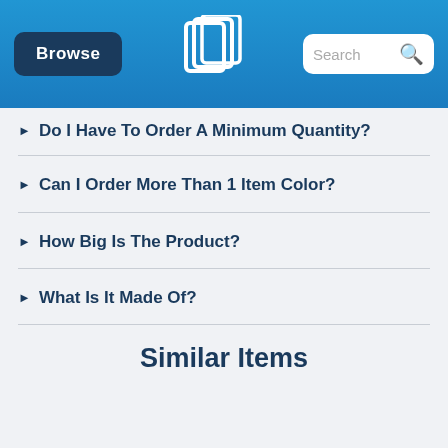Browse | [logo] | Search
Do I Have To Order A Minimum Quantity?
Can I Order More Than 1 Item Color?
How Big Is The Product?
What Is It Made Of?
Similar Items